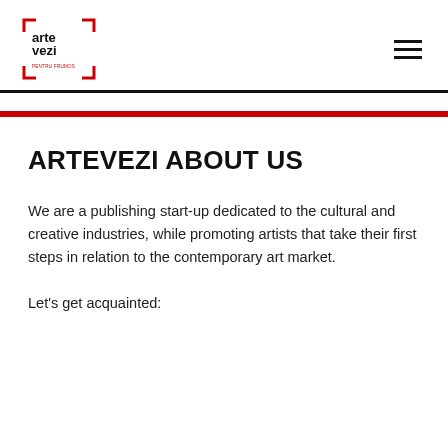artevezi logo and navigation
ARTEVEZI ABOUT US
We are a publishing start-up dedicated to the cultural and creative industries, while promoting artists that take their first steps in relation to the contemporary art market.
Let's get acquainted: